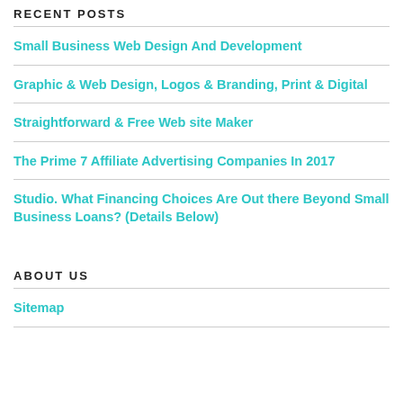RECENT POSTS
Small Business Web Design And Development
Graphic & Web Design, Logos & Branding, Print & Digital
Straightforward & Free Web site Maker
The Prime 7 Affiliate Advertising Companies In 2017
Studio. What Financing Choices Are Out there Beyond Small Business Loans? (Details Below)
ABOUT US
Sitemap